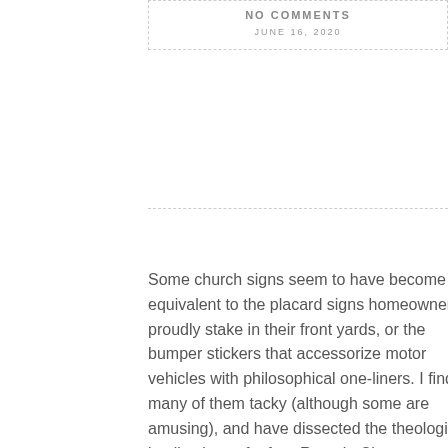NO COMMENTS
JUNE 16, 2020
Some church signs seem to have become equivalent to the placard signs homeowners proudly stake in their front yards, or the bumper stickers that accessorize motor vehicles with philosophical one-liners. I find many of them tacky (although some are amusing), and have dissected the theological implications of a few. Rosaria Champagne Butterfield spends a